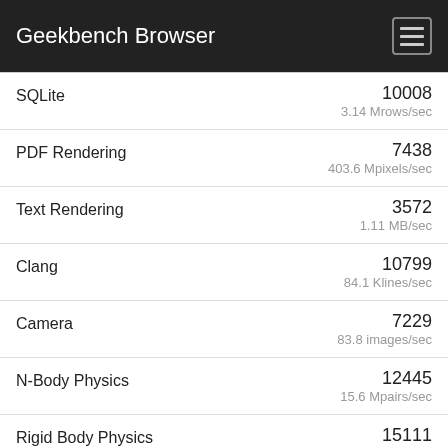Geekbench Browser
| Benchmark | Score | Unit |
| --- | --- | --- |
| SQLite | 10008 | 3.14 Mrows/sec |
| PDF Rendering | 7438 | 403.6 Mpixels/sec |
| Text Rendering | 3572 | 1.11 MB/sec |
| Clang | 10799 | 84.1 Klines/sec |
| Camera | 7229 | 83.8 images/sec |
| N-Body Physics | 12445 | 15.6 Mpairs/sec |
| Rigid Body Physics | 15111 | 93616.6 FPS |
| Gaussian Blur | 10125 |  |